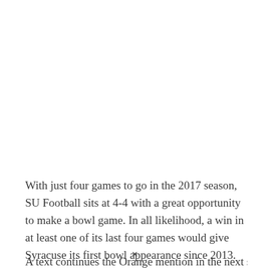With just four games to go in the 2017 season, SU Football sits at 4-4 with a great opportunity to make a bowl game. In all likelihood, a win in at least one of its last four games would give Syracuse its first bowl appearance since 2013.
A text continues with Orange mentioned in the next situation and boldly...